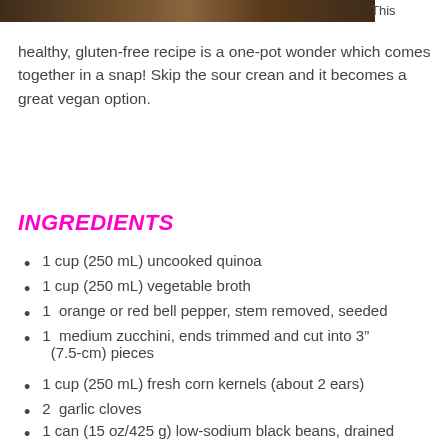[Figure (photo): Partial photo strip of a food dish at the top of the page]
This healthy, gluten-free recipe is a one-pot wonder which comes together in a snap! Skip the sour crean and it becomes a great vegan option.
INGREDIENTS
1 cup (250 mL) uncooked quinoa
1 cup (250 mL) vegetable broth
1  orange or red bell pepper, stem removed, seeded
1  medium zucchini, ends trimmed and cut into 3" (7.5-cm) pieces
1 cup (250 mL) fresh corn kernels (about 2 ears)
2  garlic cloves
1 can (15 oz/425 g) low-sodium black beans, drained and rinsed
1 ... (14.5/411 g) fire-roasted diced tomatoes